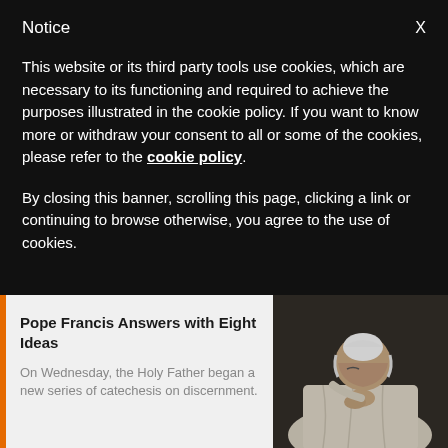Notice    X
This website or its third party tools use cookies, which are necessary to its functioning and required to achieve the purposes illustrated in the cookie policy. If you want to know more or withdraw your consent to all or some of the cookies, please refer to the cookie policy.
By closing this banner, scrolling this page, clicking a link or continuing to browse otherwise, you agree to the use of cookies.
Pope Francis Answers with Eight Ideas
On Wednesday, the Holy Father began a new series of catechesis on discernment.
[Figure (photo): Pope Francis in white vestments with head bowed and hands clasped together in prayer]